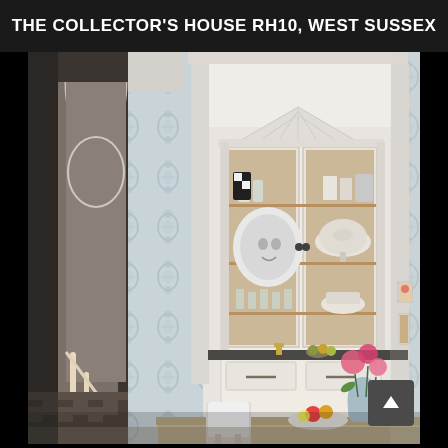THE COLLECTOR'S HOUSE RH10, WEST SUSSEX
[Figure (photo): Interior photograph of an elegant kitchen/dining room featuring a white arched alcove built-in china cabinet/hutch with glass doors displaying plates, bowls, and ceramics. The walls are covered in a soft blue-grey damask wallpaper. On the left, a hallway with a staircase and arched doorway is visible. A dark granite countertop below the cabinet holds fruit and decorative items. A white chair and rustic wooden dining table are visible in the foreground. A vase of pink flowers sits on the table with a bowl of fruit. A small scroll-up navigation button is visible in the lower right corner.]